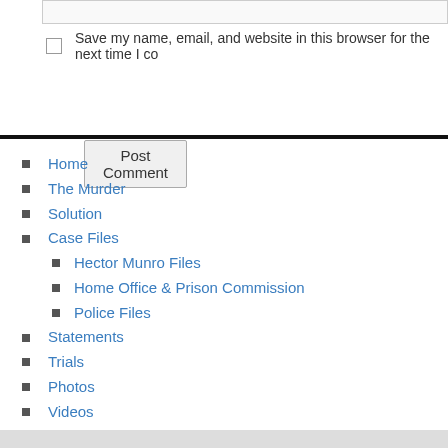Save my name, email, and website in this browser for the next time I co
Post Comment
Home
The Murder
Solution
Case Files
Hector Munro Files
Home Office & Prison Commission
Police Files
Statements
Trials
Photos
Videos
Mythbusters
Books